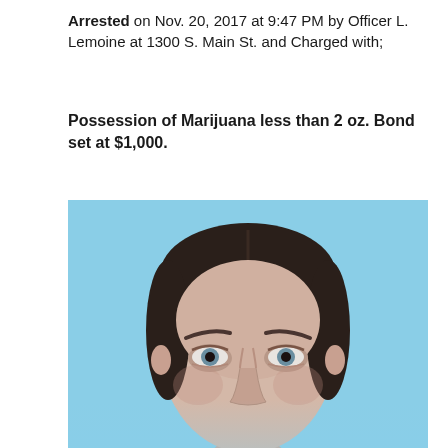Arrested on Nov. 20, 2017 at 9:47 PM by Officer L. Lemoine at 1300 S. Main St. and Charged with;
Possession of Marijuana less than 2 oz. Bond set at $1,000.
[Figure (photo): Mugshot photo of a woman with dark hair pulled back, light skin, blue eyes, against a light blue background. The photo shows her face from approximately mid-forehead to just below the nose.]